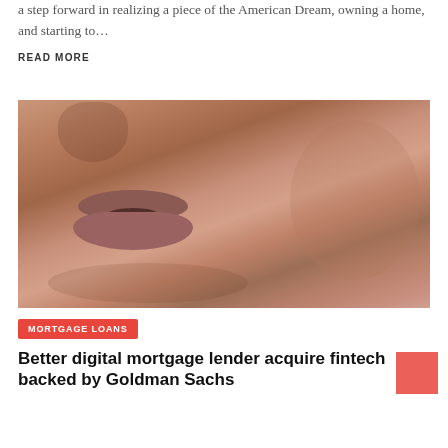a step forward in realizing a piece of the American Dream, owning a home, and starting to…
READ MORE
[Figure (photo): Close-up photo of a person's lower face showing nose, lips and cheeks]
MORTGAGE LOANS
Better digital mortgage lender acquire fintech backed by Goldman Sachs